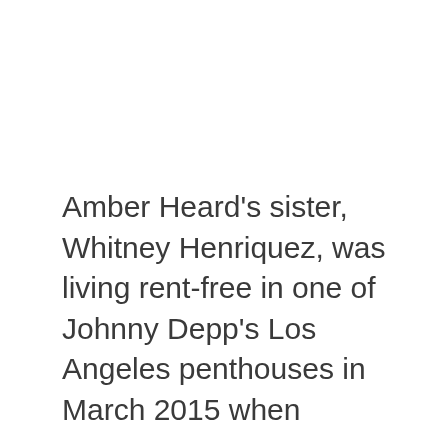Amber Heard's sister, Whitney Henriquez, was living rent-free in one of Johnny Depp's Los Angeles penthouses in March 2015 when